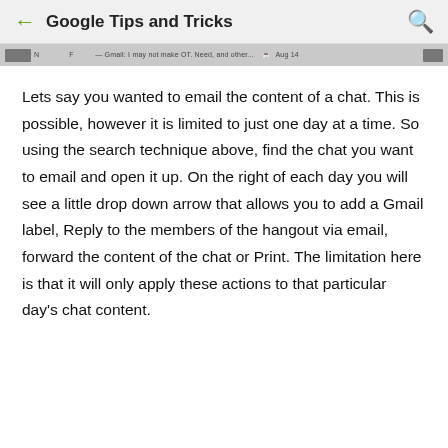Google Tips and Tricks
[Figure (screenshot): Toolbar strip showing partial email/chat interface row with icons and truncated text]
Lets say you wanted to email the content of a chat. This is possible, however it is limited to just one day at a time. So using the search technique above, find the chat you want to email and open it up. On the right of each day you will see a little drop down arrow that allows you to add a Gmail label, Reply to the members of the hangout via email, forward the content of the chat or Print. The limitation here is that it will only apply these actions to that particular day's chat content.